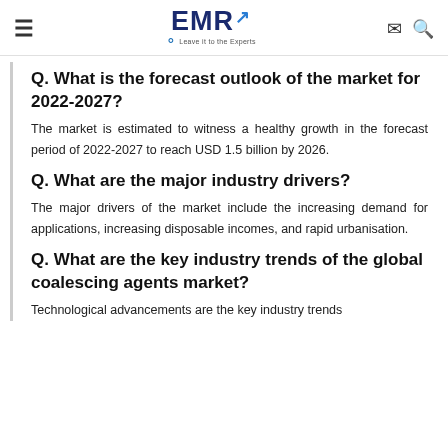EMR – Leave it to the Experts
Q. What is the forecast outlook of the market for 2022-2027?
The market is estimated to witness a healthy growth in the forecast period of 2022-2027 to reach USD 1.5 billion by 2026.
Q. What are the major industry drivers?
The major drivers of the market include the increasing demand for applications, increasing disposable incomes, and rapid urbanisation.
Q. What are the key industry trends of the global coalescing agents market?
Technological advancements are the key industry trends